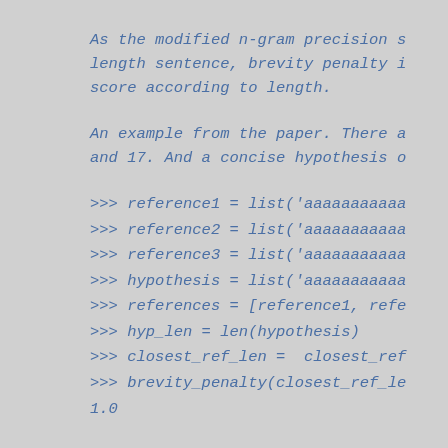As the modified n-gram precision s
length sentence, brevity penalty i
score according to length.
An example from the paper. There a
and 17. And a concise hypothesis o
>>> reference1 = list('aaaaaaaaaaa
>>> reference2 = list('aaaaaaaaaaa
>>> reference3 = list('aaaaaaaaaaa
>>> hypothesis = list('aaaaaaaaaaa
>>> references = [reference1, refe
>>> hyp_len = len(hypothesis)
>>> closest_ref_len =  closest_ref
>>> brevity_penalty(closest_ref_le
1.0